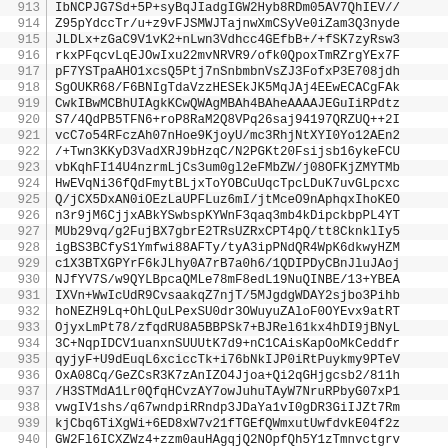| # | Content |
| --- | --- |
| 913 | IbNCPJG7Sd+5P+syBqJIadgIGW2Hyb8RDm05AV7QhIEV// |
| 914 | Z95pYdccTr/u+z9vFJSMWJTajnwXmCSyVe0iZam3Q3nyde |
| 915 | JLDLx+zGaC9V1vK2+nLwn3Vdhcc4GEfbB+/+fSK7zyRsw3 |
| 916 | rkxPFqcvLqEJOwIxu22mvNRVR9/ofk0QpoxTmRZrgYEx7F |
| 917 | pF7YSTpaAHO1xcsQ5Ptj7nSnbmbnVsZJ3FofxP3E708jdh |
| 918 | SgOUKR68/F6BNIgTdaVzzHESEkJK5MqJAj4EEwECACgFAk |
| 919 | CwkIBwMCBhUIAgkKCwQWAgMBAh4BAheAAAAJEGuIiRPdtz |
| 920 | S7/4QdPB5TFN6+roP8RaM2Q8VPq26saj94197QRZUQ++2I |
| 921 | vcC7o54RFczAh07nHoe9KjoyU/mc3RhjNtXYI0Yo12AEn2 |
| 922 | /+Twn3KKyD3VadXRJ9bHzqC/N2PGKt20Fsijsb16ykeFCU |
| 923 | vbKqhFI14U4nzrmLjCs3um0gl2eFMbZW/j08OFKjZMYTMb |
| 924 | HwEVqNi36fQdFmytBLjxToYOBCuUqcTpcLDuK7uvGLpcxc |
| 925 | Q/jCX5DxAN0iOEzLaUPFLuz6mI/jtMceO9nAphqxIhoKEO |
| 926 | n3r9jM6CjjxABkYSwbspKYWnF3qaq3mb4kDipckbpPL4YT |
| 927 | MUb29vq/g2FujBX7gbrE2TRsUZRxCPT4pQ/tt8CknklIy5 |
| 928 | igBS3BCfyS1Ymfwi88AFTy/tyA3ipPNdQR4WpK6dkwyHZM |
| 929 | c1X3BTXGPYrF6kJLhy0A7rB7a0h6/1QDIPDyCBnJluJAoj |
| 930 | NJfYV7S/w9QYLBpcaQMLe78mF8edL19NuQINBE/13+YBEA |
| 931 | IXVn+WwIcUdR9CvsaakqZ7njT/5MJgdgWDAY2sjbo3Pihb |
| 932 | hoNEZH9Lq+OhLQuLPexSU0dr3OWuyuZAloF0OYEvx9atRT |
| 933 | OjyxLmPt78/zfqdRU8A5BBPSk7+BJRel61kx4hDI9jBNyL |
| 934 | 3C+NqpIDCV1uanxnSUUUtK7d9+nC1CAisKapOoMkCeddfr |
| 935 | qyjyF+U9dEuqL6xciccTk+i76bNkIJP0iRtPuykmy9PTeV |
| 936 | OxA08Cq/GeZCsR3K7zAnIZO4Jjoa+Qi2qGHjgcsb2/811h |
| 937 | /H3STMdA1Lr0QfqHCvzAY7owJuhuTAyW7NruRPbyG07xP1 |
| 938 | vwgIV1shs/q67wndpiRRndp3JDaYa1vI0gDR3GiIJZt7Rm |
| 939 | kjCbq6TiXgWi+6ED8xW7v21fTGEfQWmxutUwfdvkE04f2z |
| 940 | GW2Fl6ICXZWz4+zzm0auHAgqjQ2NOpfQh5Y1zTmnvctgrv |
| 941 | eXap/yv9SXajUjwBER1AP8ru+wARAQABiQREBBgBAgAPAh |
| 942 | AinBXSAEGQECAAYFAk/13+YACgkQCvUnu4og6KSDww//di |
| 943 | ... |